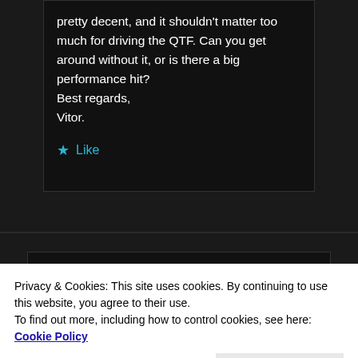pretty decent, and it shouldn't matter too much for driving the QTF. Can you get around without it, or is there a big performance hit? Best regards, Vitor.
Like
[Figure (illustration): Dark star icon and colorful squiggly waveform lines in red, orange, green, and blue on dark background]
Privacy & Cookies: This site uses cookies. By continuing to use this website, you agree to their use.
To find out more, including how to control cookies, see here: Cookie Policy
Close and accept